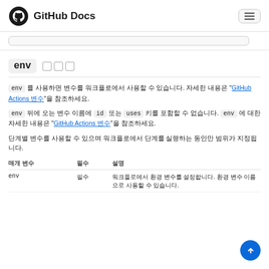GitHub Docs
env 복사 링크
env 를 사용하면 변수를 워크플로에서 사용할 수 있습니다. 자세한 내용은 "GitHub Actions 변수"을 참조하세요.
env 뒤에 오는 변수 이름에 id 또는 uses 키를 포함할 수 없습니다. env 에 대한 자세한 내용은 "GitHub Actions 변수"을 참조하세요.
단계별 변수를 사용할 수 있으며 워크플로에서 단계를 실행하는 동안만 범위가 지정됩니다.
| 매개 변수 | 필수 | 설명 |
| --- | --- | --- |
| env | 필수 | 워크플로에서 환경 변수를 설정합니다. 환경 변수 이름으로 사용할 수 있습니다. |